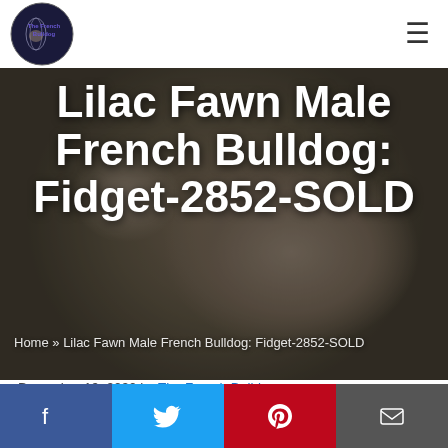The French Bulldog [logo] [hamburger menu]
[Figure (photo): Hero image of a lilac fawn French Bulldog puppy lying down, with large white text overlay showing the page title]
Lilac Fawn Male French Bulldog: Fidget-2852-SOLD
Home » Lilac Fawn Male French Bulldog: Fidget-2852-SOLD
December 19, 2020 by The French Bulldog
Hi, I'm Fidget a lilac fawn male French Bulldog! Look
[Figure (infographic): Social share bar with four buttons: Facebook (blue), Twitter (light blue), Pinterest (red), Email (dark gray)]